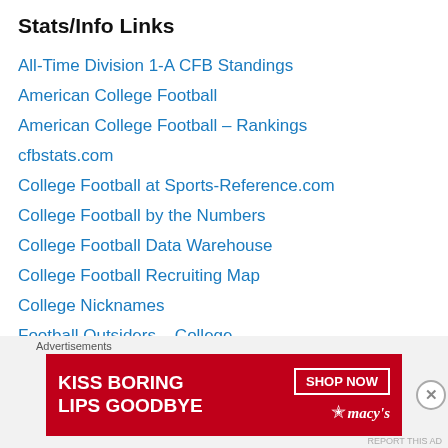Stats/Info Links
All-Time Division 1-A CFB Standings
American College Football
American College Football – Rankings
cfbstats.com
College Football at Sports-Reference.com
College Football by the Numbers
College Football Data Warehouse
College Football Recruiting Map
College Nicknames
Football Outsiders – College
Football Study Hall
GBE College Football Ratings
MapGameDay.com
NCAA Division I Football Statistics
[Figure (infographic): Advertisement banner: 'KISS BORING LIPS GOODBYE' with SHOP NOW button and Macy's logo on red background]